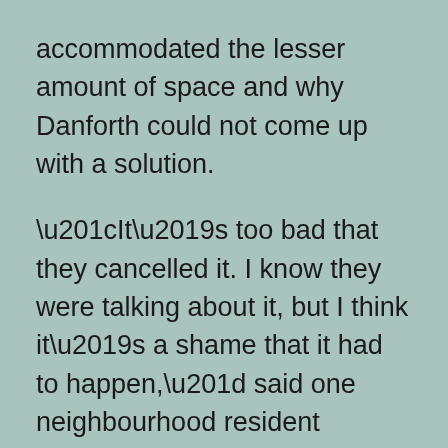accommodated the lesser amount of space and why Danforth could not come up with a solution.
“It’s too bad that they cancelled it. I know they were talking about it, but I think it’s a shame that it had to happen,” said one neighbourhood resident CityNews spoke with.
“It's been such a hard time for the main street people, so to have to give up another beautiful weekend. It is hard,” added another.
Mayor John Tory questioned why it couldn’t